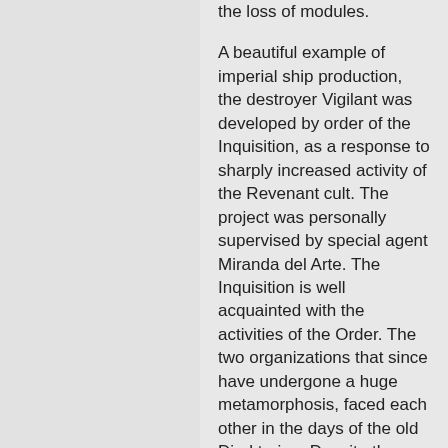the loss of modules.
A beautiful example of imperial ship production, the destroyer Vigilant was developed by order of the Inquisition, as a response to sharply increased activity of the Revenant cult. The project was personally supervised by special agent Miranda del Arte. The Inquisition is well acquainted with the activities of the Order. The two organizations that since have undergone a huge metamorphosis, faced each other in the days of the old Direktoriua. Despite the initially narrow specification, Vigilant proved to be a versatile combat machine. It was soon adopted and the blueprints